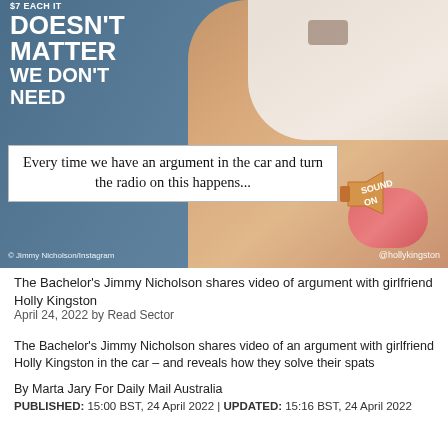[Figure (photo): Screenshot of a social media video showing a person in a car with text overlay reading 'Every time we have an argument in the car and turn the radio on this happens...' with a SOUND ON badge, text '$7 EACH IT DOESN'T MATTER WE DON'T NEED' in top left, watermarks for Jimmy Nicholson/Instagram and @hollykingston]
The Bachelor's Jimmy Nicholson shares video of argument with girlfriend Holly Kingston
April 24, 2022 by Read Sector
The Bachelor's Jimmy Nicholson shares video of an argument with girlfriend Holly Kingston in the car – and reveals how they solve their spats
By Marta Jary For Daily Mail Australia
PUBLISHED: 15:00 BST, 24 April 2022 | UPDATED: 15:16 BST, 24 April 2022